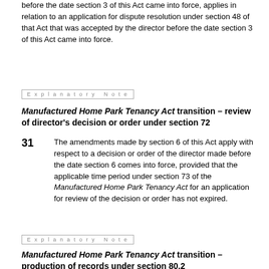before the date section 3 of this Act came into force, applies in relation to an application for dispute resolution under section 48 of that Act that was accepted by the director before the date section 3 of this Act came into force.
Explanatory Note
Manufactured Home Park Tenancy Act transition – review of director's decision or order under section 72
31  The amendments made by section 6 of this Act apply with respect to a decision or order of the director made before the date section 6 comes into force, provided that the applicable time period under section 73 of the Manufactured Home Park Tenancy Act for an application for review of the decision or order has not expired.
Explanatory Note
Manufactured Home Park Tenancy Act transition – production of records under section 80.2